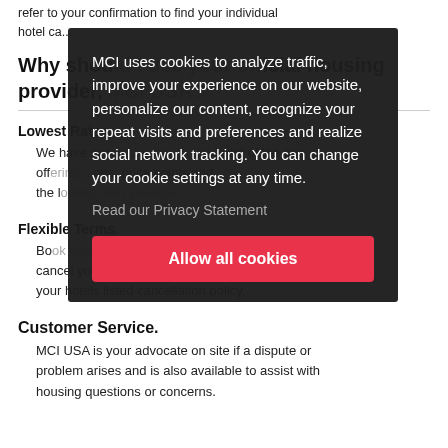refer to your confirmation to find your individual hotel ca...
Why should I use your official housing provider, MCI USA?
Lowest Rates.
We have secured hotels in the heart of the city offering ... locations, price points and the lowest rates possible.
Flexible Terms.
Book today and ... change or cancel your reservation without charge prior to your hotels listed cancellation policy.
Customer Service.
MCI USA is your advocate on site if a dispute or problem arises and is also available to assist with housing questions or concerns.
[Figure (screenshot): Cookie consent overlay with dark background. Text reads: 'MCI uses cookies to analyze traffic, improve your experience on our website, personalize our content, recognize your repeat visits and preferences and realize social network tracking. You can change your cookie settings at any time.' Link: 'Read our Privacy Statement'. Button: 'Allow all cookies']